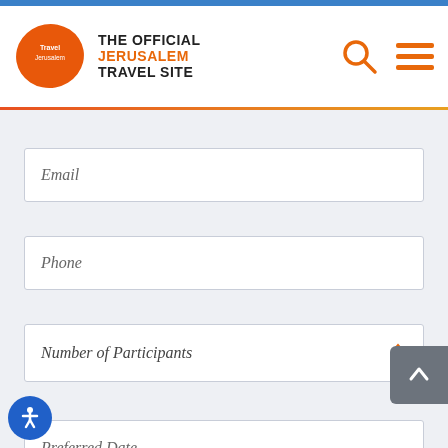[Figure (logo): The Official Jerusalem Travel Site logo with orange blob and navigation icons]
Email
Phone
Number of Participants
Preferred Date
Promo Code